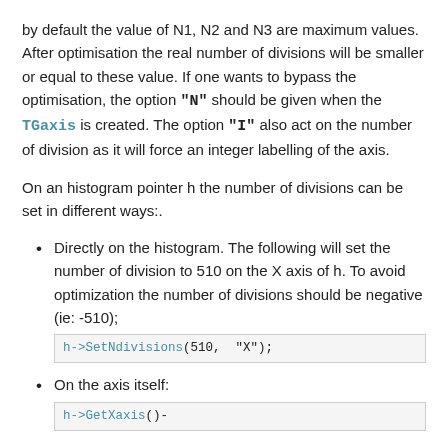by default the value of N1, N2 and N3 are maximum values. After optimisation the real number of divisions will be smaller or equal to these value. If one wants to bypass the optimisation, the option "N" should be given when the TGaxis is created. The option "I" also act on the number of division as it will force an integer labelling of the axis.
On an histogram pointer h the number of divisions can be set in different ways:.
Directly on the histogram. The following will set the number of division to 510 on the X axis of h. To avoid optimization the number of divisions should be negative (ie: -510); h->SetNdivisions(510, "X");
On the axis itself: h->GetXaxis()-